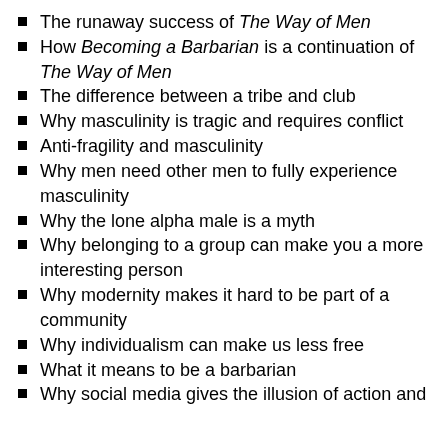The runaway success of The Way of Men
How Becoming a Barbarian is a continuation of The Way of Men
The difference between a tribe and club
Why masculinity is tragic and requires conflict
Anti-fragility and masculinity
Why men need other men to fully experience masculinity
Why the lone alpha male is a myth
Why belonging to a group can make you a more interesting person
Why modernity makes it hard to be part of a community
Why individualism can make us less free
What it means to be a barbarian
Why social media gives the illusion of action and